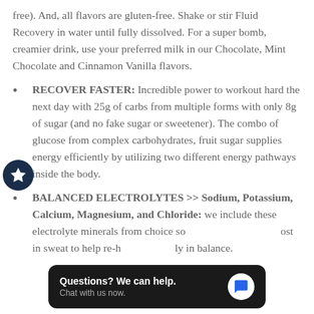free). And, all flavors are gluten-free. Shake or stir Fluid Recovery in water until fully dissolved. For a super bomb, creamier drink, use your preferred milk in our Chocolate, Mint Chocolate and Cinnamon Vanilla flavors.
RECOVER FASTER: Incredible power to workout hard the next day with 25g of carbs from multiple forms with only 8g of sugar (and no fake sugar or sweetener). The combo of glucose from complex carbohydrates, fruit sugar supplies energy efficiently by utilizing two different energy pathways inside the body.
BALANCED ELECTROLYTES >> Sodium, Potassium, Calcium, Magnesium, and Chloride: we include these electrolyte minerals from choice so [obscured] ost in sweat to help re-h[obscured] ly in balance.
[Figure (other): Dark circular badge with a white star icon, positioned on the left side of the page]
[Figure (screenshot): Chat popup overlay with dark background reading 'Questions? We can help. Chat with us now.' with a blue chat bubble icon on the right]